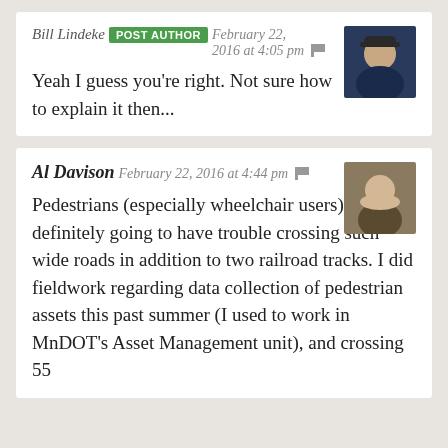Bill Lindeke POST AUTHOR February 22, 2016 at 4:05 pm
Yeah I guess you're right. Not sure how to explain it then...
[Figure (photo): Avatar photo of Bill Lindeke, person wearing a cap]
Al Davison February 22, 2016 at 4:44 pm
Pedestrians (especially wheelchair users) are definitely going to have trouble crossing such wide roads in addition to two railroad tracks. I did fieldwork regarding data collection of pedestrian assets this past summer (I used to work in MnDOT's Asset Management unit), and crossing 55
[Figure (photo): Avatar photo of Al Davison, person resting chin on hands]